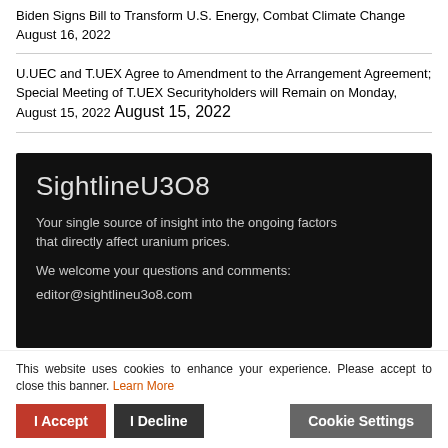Biden Signs Bill to Transform U.S. Energy, Combat Climate Change August 16, 2022
U.UEC and T.UEX Agree to Amendment to the Arrangement Agreement; Special Meeting of T.UEX Securityholders will Remain on Monday, August 15, 2022 August 15, 2022
[Figure (other): SightlineU3O8 promotional banner on dark background. Text: 'SightlineU3O8' as heading; 'Your single source of insight into the ongoing factors that directly affect uranium prices.'; 'We welcome your questions and comments:'; 'editor@sightlineu3o8.com']
This website uses cookies to enhance your experience. Please accept to close this banner. Learn More
I Accept   I Decline   Cookie Settings